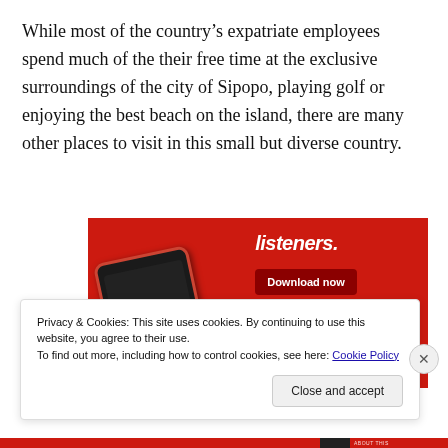While most of the country's expatriate employees spend much of the their free time at the exclusive surroundings of the city of Sipopo, playing golf or enjoying the best beach on the island, there are many other places to visit in this small but diverse country.
[Figure (screenshot): Advertisement screenshot showing a podcast/audio app on a red background with bold text 'Dis-trib-uted', 'listeners.' in italic, a 'Download now' button, and a dark phone mockup with playback controls.]
Privacy & Cookies: This site uses cookies. By continuing to use this website, you agree to their use.
To find out more, including how to control cookies, see here: Cookie Policy
Close and accept